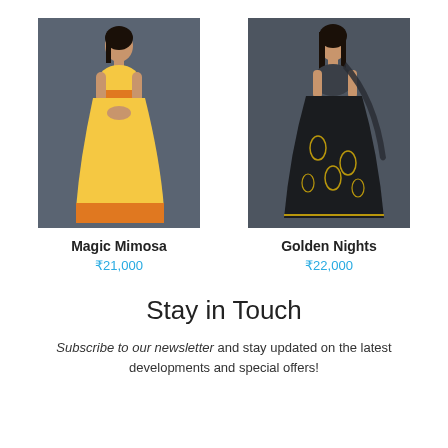[Figure (photo): Woman wearing a yellow and orange lehenga choli (Indian traditional outfit) standing against a dark grey background]
Magic Mimosa
₹21,000
[Figure (photo): Woman wearing a black and gold embroidered lehenga with dupatta standing against a dark grey background]
Golden Nights
₹22,000
Stay in Touch
Subscribe to our newsletter and stay updated on the latest developments and special offers!